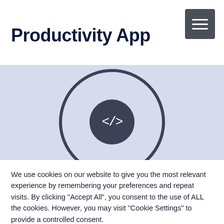Productivity App
[Figure (illustration): Light blue hero band with a circular icon containing a code/HTML bracket symbol </> in a dark rounded shape, with a larger concentric circle outline]
We use cookies on our website to give you the most relevant experience by remembering your preferences and repeat visits. By clicking "Accept All", you consent to the use of ALL the cookies. However, you may visit "Cookie Settings" to provide a controlled consent.
Cookie Settings | Accept All